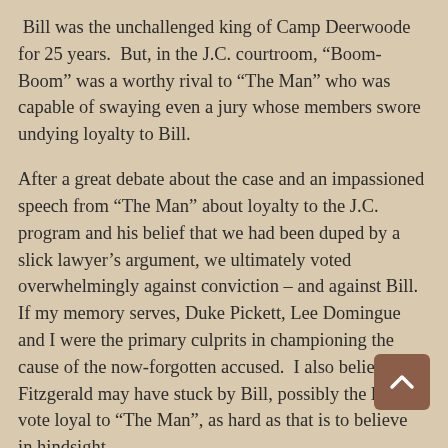Bill was the unchallenged king of Camp Deerwoode for 25 years.  But, in the J.C. courtroom, “Boom-Boom” was a worthy rival to “The Man” who was capable of swaying even a jury whose members swore undying loyalty to Bill.
After a great debate about the case and an impassioned speech from “The Man” about loyalty to the J.C. program and his belief that we had been duped by a slick lawyer’s argument, we ultimately voted overwhelmingly against conviction – and against Bill.  If my memory serves, Duke Pickett, Lee Domingue and I were the primary culprits in championing the cause of the now-forgotten accused.  I also believe Ted Fitzgerald may have stuck by Bill, possibly the lone vote loyal to “The Man”, as hard as that is to believe in hindsight.
Our impudence quickly proved to be a big mistake.  The